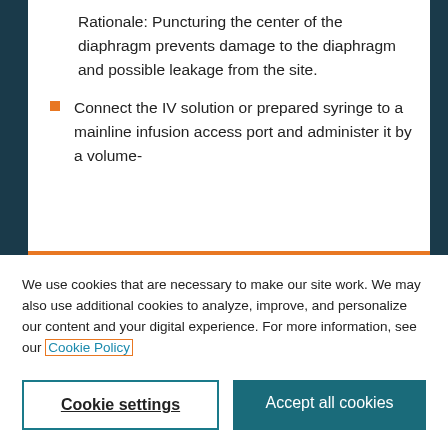Rationale: Puncturing the center of the diaphragm prevents damage to the diaphragm and possible leakage from the site.
Connect the IV solution or prepared syringe to a mainline infusion access port and administer it by a volume-
We use cookies that are necessary to make our site work. We may also use additional cookies to analyze, improve, and personalize our content and your digital experience. For more information, see our Cookie Policy